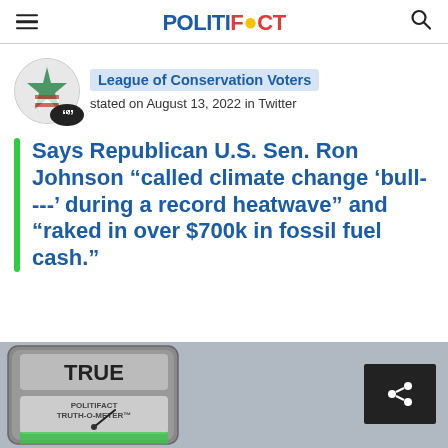POLITIFACT
League of Conservation Voters stated on August 13, 2022 in Twitter
Says Republican U.S. Sen. Ron Johnson “called climate change ‘bull----’ during a record heatwave” and “raked in over $700k in fossil fuel cash.”
[Figure (other): PolitiFact Truth-O-Meter showing TRUE rating]